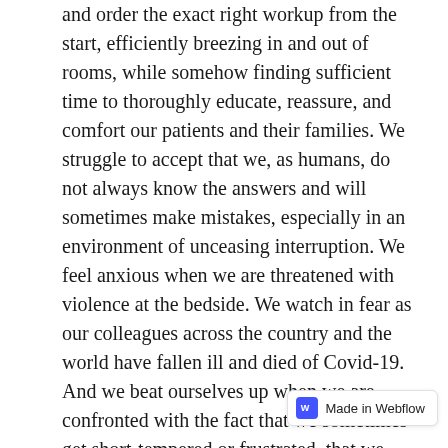and order the exact right workup from the start, efficiently breezing in and out of rooms, while somehow finding sufficient time to thoroughly educate, reassure, and comfort our patients and their families. We struggle to accept that we, as humans, do not always know the answers and will sometimes make mistakes, especially in an environment of unceasing interruption. We feel anxious when we are threatened with violence at the bedside. We watch in fear as our colleagues across the country and the world have fallen ill and died of Covid-19. And we beat ourselves up when we are confronted with the fact that we sometimes get short-tempered or frustrated, that we harbor unconscious biases, that we witness tragedy and need to cry. We hide the fear, grief, and self-doubt from our patients, from our colleagues, from our families, and sometimes from ourselves.
It's easy to look around at our bright and talented coworkers--skillfully managing a resus answering questions in conference--and believe we